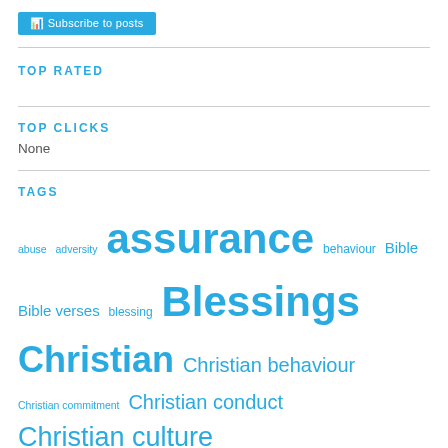[Figure (other): Blue rounded button/badge at top of page]
TOP RATED
TOP CLICKS
None
TAGS
abuse adversity assurance behaviour Bible Bible verses blessing Blessings Christian Christian behaviour Christian commitment Christian conduct Christian culture Christian devotional Christian duty Christian encouragement Christian faith Christianity Christian life Christian Meditation Christian photography Christian prayer